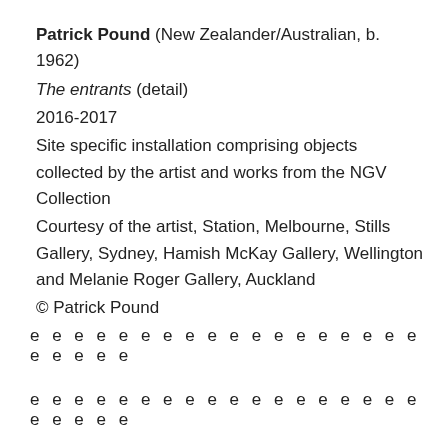Patrick Pound (New Zealander/Australian, b. 1962)
The entrants (detail)
2016-2017
Site specific installation comprising objects collected by the artist and works from the NGV Collection
Courtesy of the artist, Station, Melbourne, Stills Gallery, Sydney, Hamish McKay Gallery, Wellington and Melanie Roger Gallery, Auckland
© Patrick Pound
e e e e e e e e e e e e e e e e e e e e e e e
e e e e e e e e e e e e e e e e e e e e e e e